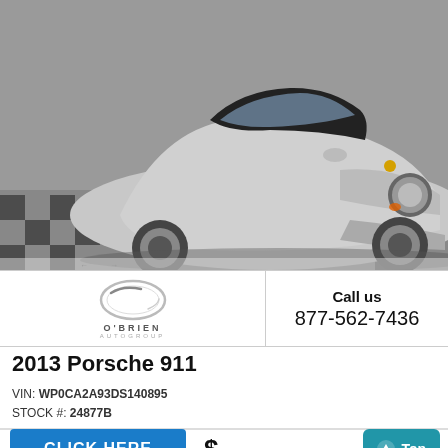[Figure (photo): Silver Porsche 911 convertible photographed from front-left angle in a showroom with black and white checkered floor]
[Figure (logo): O'Brien Autogroup logo: circular ring emblem with O'BRIEN AUTOGROUP text below]
Call us
877-562-7436
2013 Porsche 911
VIN: WP0CA2A93DS140895
STOCK #: 24877B
MSRP:	-
Dealer Discount	Call Us
CLICK HERE
Top